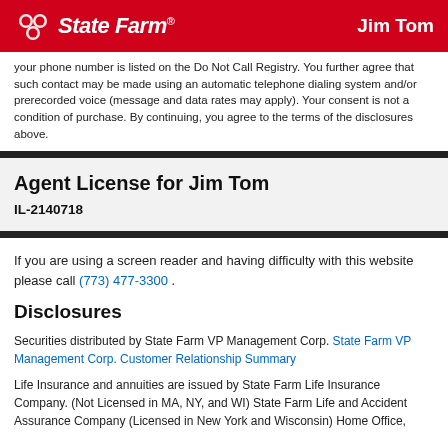State Farm — Jim Tom
your phone number is listed on the Do Not Call Registry. You further agree that such contact may be made using an automatic telephone dialing system and/or prerecorded voice (message and data rates may apply). Your consent is not a condition of purchase. By continuing, you agree to the terms of the disclosures above.
Agent License for Jim Tom
IL-2140718
If you are using a screen reader and having difficulty with this website please call (773) 477-3300 .
Disclosures
Securities distributed by State Farm VP Management Corp. State Farm VP Management Corp. Customer Relationship Summary
Life Insurance and annuities are issued by State Farm Life Insurance Company. (Not Licensed in MA, NY, and WI) State Farm Life and Accident Assurance Company (Licensed in New York and Wisconsin) Home Office,